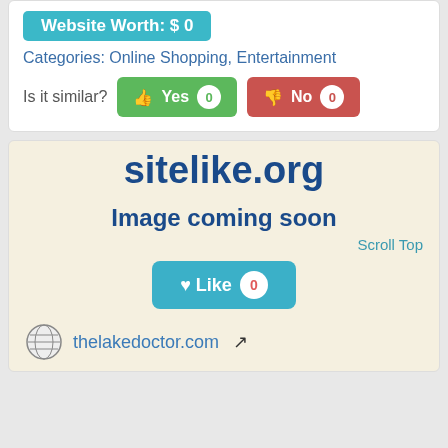Website Worth: $ 0
Categories: Online Shopping, Entertainment
Is it similar? Yes 0  No 0
[Figure (screenshot): Website preview placeholder for sitelike.org showing 'Image coming soon' text with a Like button showing 0 likes]
thelakedoctor.com